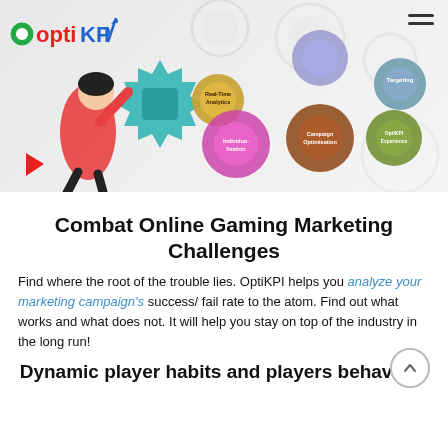[Figure (screenshot): OptiKPI website header banner showing a woman kneeling with various marketing feature gear icons: Real-Time Analytics, Individualisation, Campaign Optimisation, Targeting, OptiKPI Experience, and others against a light background. Logo 'optiKPI' is top left, hamburger menu top right.]
Combat Online Gaming Marketing Challenges
Find where the root of the trouble lies. OptiKPI helps you analyze your marketing campaign's success/ fail rate to the atom. Find out what works and what does not. It will help you stay on top of the industry in the long run!
Dynamic player habits and players behaviour